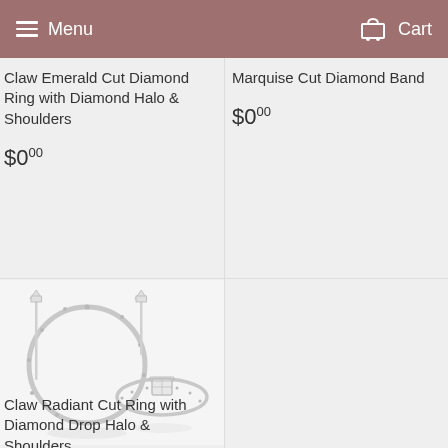Menu   Cart
Claw Emerald Cut Diamond Ring with Diamond Halo & Shoulders
$0.00
Marquise Cut Diamond Band
$0.00
[Figure (photo): Jewelry product image showing rings and earrings - Claw Radiant Cut Ring with Diamond Drop Halo & Shoulders]
Claw Radiant Cut Ring with Diamond Drop Halo & Shoulders